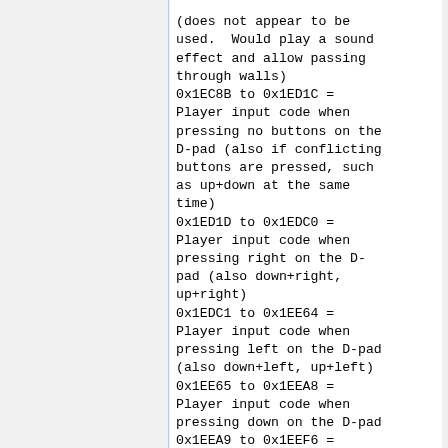(does not appear to be used.  Would play a sound effect and allow passing through walls)
0x1EC8B to 0x1ED1C = Player input code when pressing no buttons on the D-pad (also if conflicting buttons are pressed, such as up+down at the same time)
0x1ED1D to 0x1EDC0 = Player input code when pressing right on the D-pad (also down+right, up+right)
0x1EDC1 to 0x1EE64 = Player input code when pressing left on the D-pad (also down+left, up+left)
0x1EE65 to 0x1EEA8 = Player input code when pressing down on the D-pad
0x1EEA9 to 0x1EEF6 = Player input code when